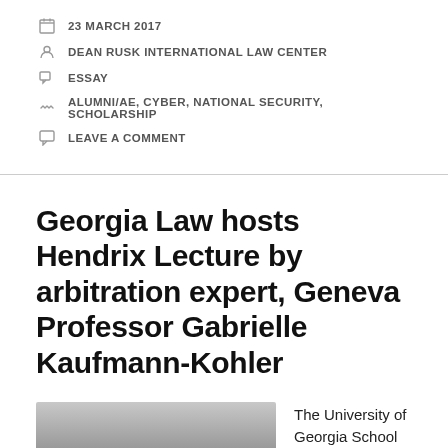23 MARCH 2017
DEAN RUSK INTERNATIONAL LAW CENTER
ESSAY
ALUMNI/AE, CYBER, NATIONAL SECURITY, SCHOLARSHIP
LEAVE A COMMENT
Georgia Law hosts Hendrix Lecture by arbitration expert, Geneva Professor Gabrielle Kaufmann-Kohler
[Figure (photo): Black and white photo of a person, partially visible at bottom of page]
The University of Georgia School of